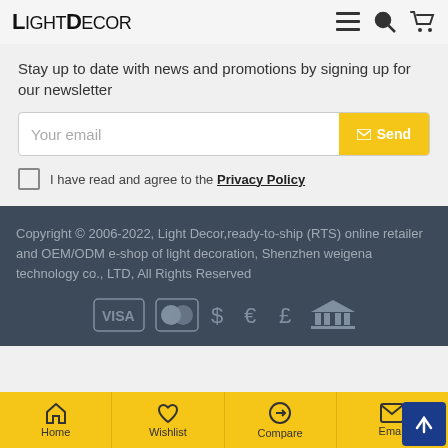LightDecor
Stay up to date with news and promotions by signing up for our newsletter
Your email
Send
I have read and agree to the Privacy Policy
Copyright © 2006-2022, Light Decor,ready-to-ship (RTS) online retailer and OEM/ODM e-shop of light decoration, Shenzhen weigena technology co., LTD, All Rights Reserved
Home | Wishlist | Compare | Email